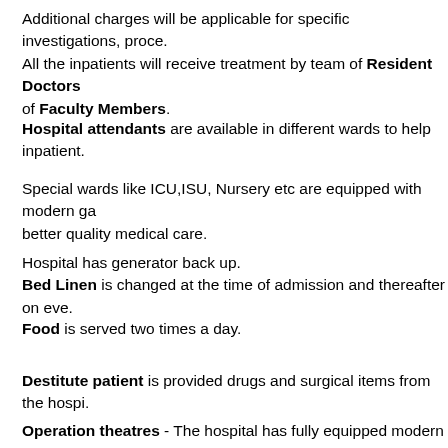Additional charges will be applicable for specific investigations, proce. All the inpatients will receive treatment by team of Resident Doctors of Faculty Members.
Hospital attendants are available in different wards to help inpatient.
Special wards like ICU,ISU, Nursery etc are equipped with modern ga better quality medical care.
Hospital has generator back up. Bed Linen is changed at the time of admission and thereafter on eve.
Food is served two times a day.
Destitute patient is provided drugs and surgical items from the hospi.
Operation theatres - The hospital has fully equipped modern operat latest techniques and technology.
Routine Surgeries are done as per list maintained by the respective.